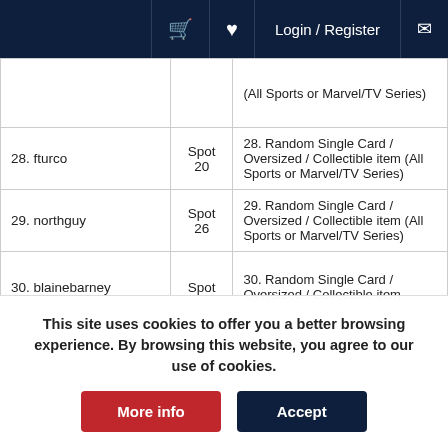Login / Register
| Name | Spot | Prize |
| --- | --- | --- |
|  |  | (All Sports or Marvel/TV Series) |
| 28. fturco | Spot 20 | 28. Random Single Card / Oversized / Collectible item (All Sports or Marvel/TV Series) |
| 29. northguy | Spot 26 | 29. Random Single Card / Oversized / Collectible item (All Sports or Marvel/TV Series) |
| 30. blainebarney | Spot | 30. Random Single Card / Oversized / Collectible item |
This site uses cookies to offer you a better browsing experience. By browsing this website, you agree to our use of cookies.